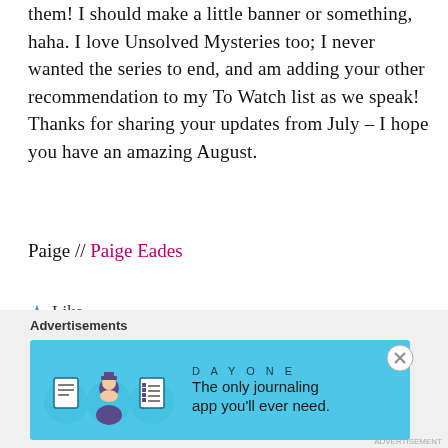them! I should make a little banner or something, haha. I love Unsolved Mysteries too; I never wanted the series to end, and am adding your other recommendation to my To Watch list as we speak! Thanks for sharing your updates from July – I hope you have an amazing August.
Paige // Paige Eades
★ Like
Reply
Advertisements
[Figure (illustration): DAY ONE app advertisement banner in light blue. Shows three illustrated icons (a document, a person, a checklist) and the text 'The only journaling app you'll ever need.']